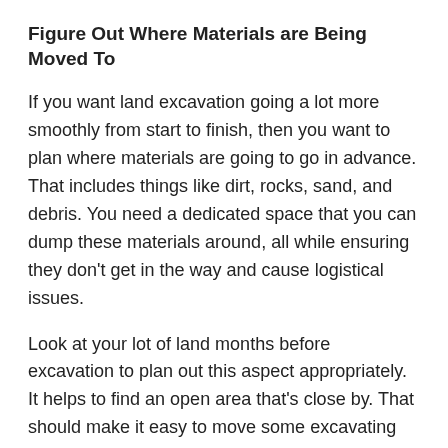Figure Out Where Materials are Being Moved To
If you want land excavation going a lot more smoothly from start to finish, then you want to plan where materials are going to go in advance. That includes things like dirt, rocks, sand, and debris. You need a dedicated space that you can dump these materials around, all while ensuring they don't get in the way and cause logistical issues.
Look at your lot of land months before excavation to plan out this aspect appropriately. It helps to find an open area that's close by. That should make it easy to move some excavating equipment around and still keep unneeded materials out of the way until professional pickup services can be arranged.
Find Ways to Keep Your Excavation Team Alert